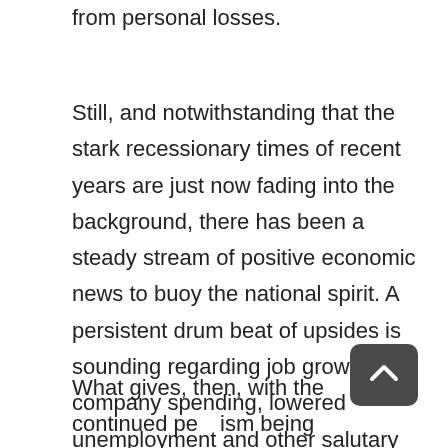from personal losses.
Still, and notwithstanding that the stark recessionary times of recent years are just now fading into the background, there has been a steady stream of positive economic news to buoy the national spirit. A persistent drum beat of upsides is sounding regarding job growth, company spending, lowered unemployment and other salutary developments.
What gives, then, with the continued pessimism being expressed by high numbers of people